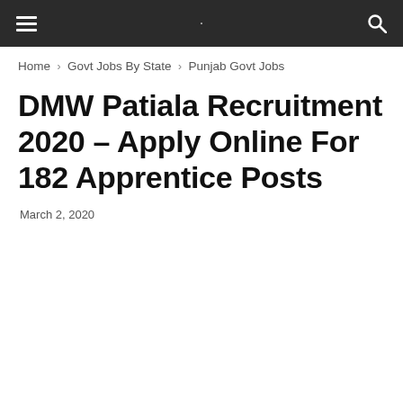☰ · 🔍
Home › Govt Jobs By State › Punjab Govt Jobs
DMW Patiala Recruitment 2020 – Apply Online For 182 Apprentice Posts
March 2, 2020